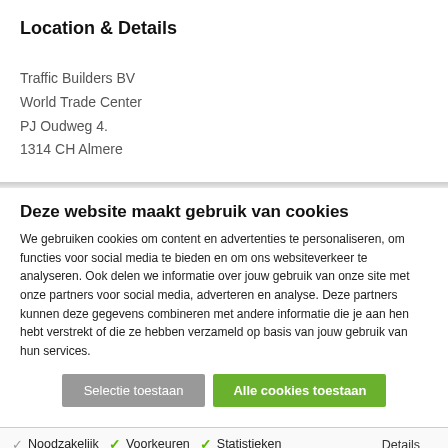Location & Details
Traffic Builders BV
World Trade Center
PJ Oudweg 4.
1314 CH Almere
Deze website maakt gebruik van cookies
We gebruiken cookies om content en advertenties te personaliseren, om functies voor social media te bieden en om ons websiteverkeer te analyseren. Ook delen we informatie over jouw gebruik van onze site met onze partners voor social media, adverteren en analyse. Deze partners kunnen deze gegevens combineren met andere informatie die je aan hen hebt verstrekt of die ze hebben verzameld op basis van jouw gebruik van hun services.
Selectie toestaan | Alle cookies toestaan
Noodzakelijk   Voorkeuren   Statistieken   Marketing   Details tonen